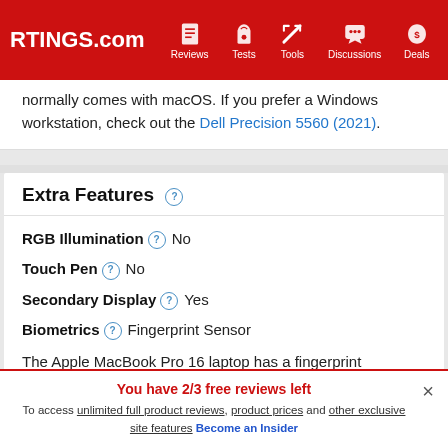RTINGS.com | Reviews | Tests | Tools | Discussions | Deals
normally comes with macOS. If you prefer a Windows workstation, check out the Dell Precision 5560 (2021).
Extra Features
RGB Illumination  No
Touch Pen  No
Secondary Display  Yes
Biometrics  Fingerprint Sensor
The Apple MacBook Pro 16 laptop has a fingerprint
You have 2/3 free reviews left
To access unlimited full product reviews, product prices and other exclusive site features Become an Insider